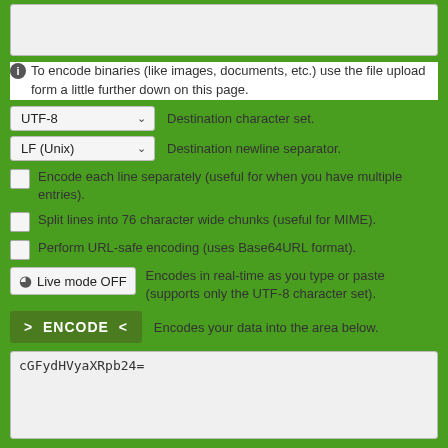[Figure (screenshot): Text area input box (top, partially visible, gray background)]
To encode binaries (like images, documents, etc.) use the file upload form a little further down on this page.
[Figure (screenshot): Dropdown selector showing UTF-8 with label: Destination character set.]
[Figure (screenshot): Dropdown selector showing LF (Unix) with label: Destination newline separator.]
Encode each line separately (useful for when you have multiple entries).
Split lines into 76 character wide chunks (useful for MIME).
Perform URL-safe encoding (uses Base64URL format).
[Figure (screenshot): Live mode OFF toggle button with text: Encodes in real-time as you type or paste (supports only the UTF-8 character set).]
[Figure (screenshot): Green ENCODE button with arrows, label: Encodes your data into the area below.]
[Figure (screenshot): Output text area showing encoded value: cGFydHVyaXRpb24=]